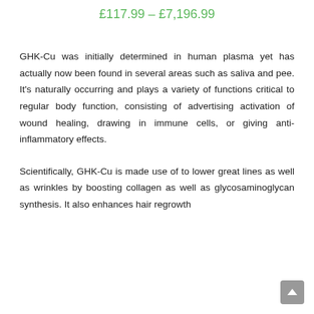£117.99 – £7,196.99
GHK-Cu was initially determined in human plasma yet has actually now been found in several areas such as saliva and pee. It's naturally occurring and plays a variety of functions critical to regular body function, consisting of advertising activation of wound healing, drawing in immune cells, or giving anti-inflammatory effects.
Scientifically, GHK-Cu is made use of to lower great lines as well as wrinkles by boosting collagen as well as glycosaminoglycan synthesis. It also enhances hair regrowth